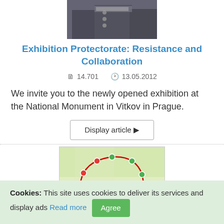[Figure (photo): Partial photo of people in dark uniforms/military attire, cropped at top]
Exhibition Protectorate: Resistance and Collaboration
📄 14.701   🕐 13.05.2012
We invite you to the newly opened exhibition at the National Monument in Vitkov in Prague.
Display article ▶
[Figure (map): A map showing a route marked with a red line and green/red pin markers, appearing to show locations around Prague]
Cookies: This site uses cookies to deliver its services and display ads Read more Agree